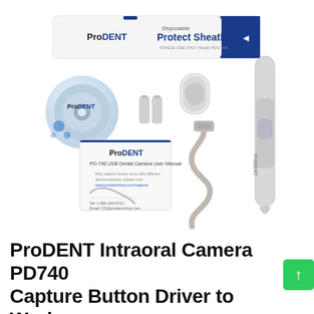[Figure (photo): ProDENT intraoral camera PD-740 product kit photo showing: a white box of ProDENT Disposable Protect Sheath (Model PDC-A91) at top, a ProDENT software CD, two batteries, a camera tip/lens cap, a USB cable, a user manual booklet (PD-740 USB Dental Camera User Manual), and the ProDENT dental camera handpiece, all on a white background.]
ProDENT Intraoral Camera PD740 Capture Button Driver to Work